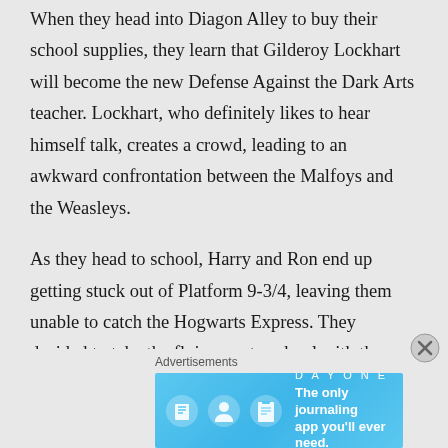When they head into Diagon Alley to buy their school supplies, they learn that Gilderoy Lockhart will become the new Defense Against the Dark Arts teacher. Lockhart, who definitely likes to hear himself talk, creates a crowd, leading to an awkward confrontation between the Malfoys and the Weasleys.
As they head to school, Harry and Ron end up getting stuck out of Platform 9-3/4, leaving them unable to catch the Hogwarts Express. They decided to take the flying car to school with the assumption that there was no other way. When they arrive, the car ends up landing in the Whomping Willow, a tree that clobbers anyone
Advertisements
[Figure (other): DAY ONE journaling app advertisement banner with blue background, app icons, and text 'The only journaling app you'll ever need.']